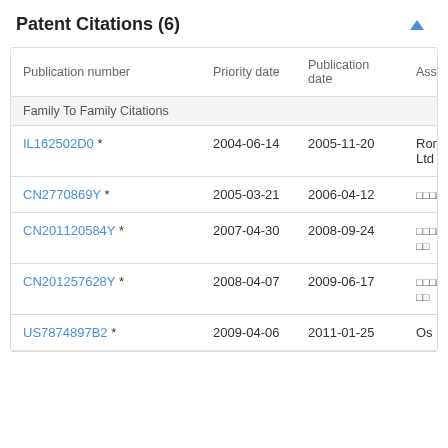Patent Citations (6)
| Publication number | Priority date | Publication date | Ass |
| --- | --- | --- | --- |
| Family To Family Citations |  |  |  |
| IL162502D0 * | 2004-06-14 | 2005-11-20 | Rom Ltd |
| CN2770869Y * | 2005-03-21 | 2006-04-12 | □□□□ |
| CN201120584Y * | 2007-04-30 | 2008-09-24 | □□□□□□ |
| CN201257628Y * | 2008-04-07 | 2009-06-17 | □□□□□□ |
| US7874897B2 * | 2009-04-06 | 2011-01-25 | Os |